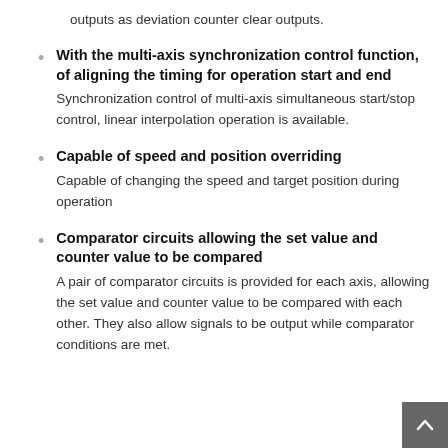outputs as deviation counter clear outputs.
With the multi-axis synchronization control function, of aligning the timing for operation start and end
Synchronization control of multi-axis simultaneous start/stop control, linear interpolation operation is available.
Capable of speed and position overriding
Capable of changing the speed and target position during operation
Comparator circuits allowing the set value and counter value to be compared
A pair of comparator circuits is provided for each axis, allowing the set value and counter value to be compared with each other. They also allow signals to be output while comparator conditions are met.